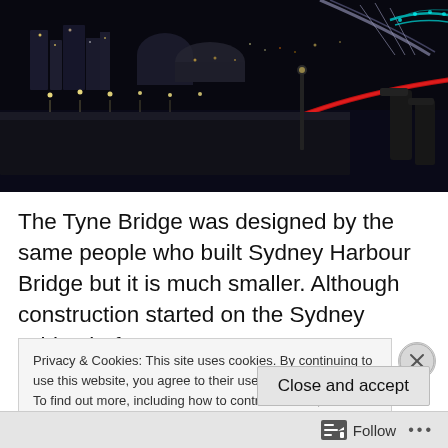[Figure (photo): Night photograph of the Tyne Bridge area in Newcastle, showing city lights reflected on the River Tyne, with a red rope/barrier in the foreground and illuminated bridges in the background]
The Tyne Bridge was designed by the same people who built Sydney Harbour Bridge but it is much smaller. Although construction started on the Sydney Bridge before
Privacy & Cookies: This site uses cookies. By continuing to use this website, you agree to their use.
To find out more, including how to control cookies, see here: Cookie Policy
Close and accept
Follow